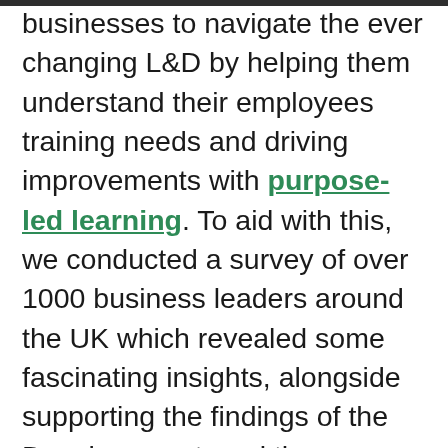businesses to navigate the ever changing L&D by helping them understand their employees training needs and driving improvements with purpose-led learning. To aid with this, we conducted a survey of over 1000 business leaders around the UK which revealed some fascinating insights, alongside supporting the findings of the Docebo report, and the narrative that emerged matched the trend outlined above. In addition to this, our research raised a worrying problem, the growing importance placed on soft skills is not translating into L&D programmes that deliver training for the soft skills